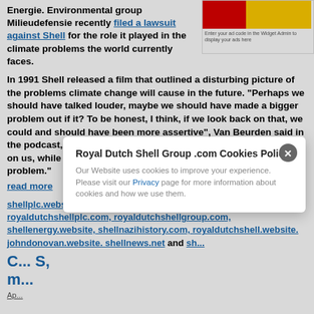Energie. Environmental group Milieudefensie recently filed a lawsuit against Shell for the role it played in the climate problems the world currently faces.
[Figure (other): Red and yellow Shell logo banner / advertisement placeholder with text 'Enter your ad code in the Widget Admin to display your ads here']
In 1991 Shell released a film that outlined a disturbing picture of the problems climate change will cause in the future. "Perhaps we should have talked louder, maybe we should have made a bigger problem out if it? To be honest, I think, if we look back on that, we could and should have been more assertive", Van Beurden said in the podcast, according to NOS. "Because now the problem is put on us, while ultimately it is of course a much bigger social problem."
read more
shellplc.website and its sister non-profit websites royaldutchshellplc.com, royaldutchshellgroup.com, shellenergy.website, shellnazihistory.com, royaldutchshell.website. johndonovan.website. shellnews.net and shellnazihistory.com are independent media
C... S,
m...
Ap...
Royal Dutch Shell Group .com Cookies Policy
Our Website uses cookies to improve your experience. Please visit our Privacy page for more information about cookies and how we use them.